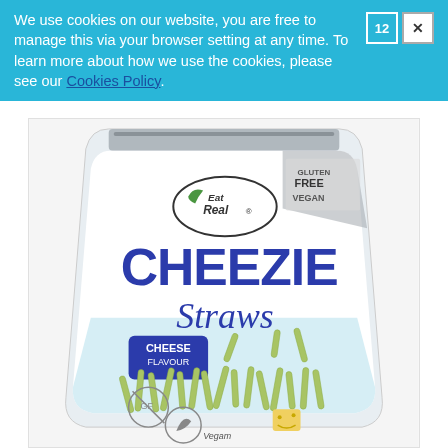We use cookies on our website, you are free to manage this via your browser setting at any time. To learn more about how we use the cookies, please see our Cookies Policy.
[Figure (photo): Product photo of Eat Real Cheezie Straws bag — white/light blue packaging with 'GLUTEN FREE VEGAN' label, large blue text 'CHEEZIE Straws', 'CHEESE FLAVOUR' badge, green straw-shaped snacks visible, Vegam logo at bottom.]